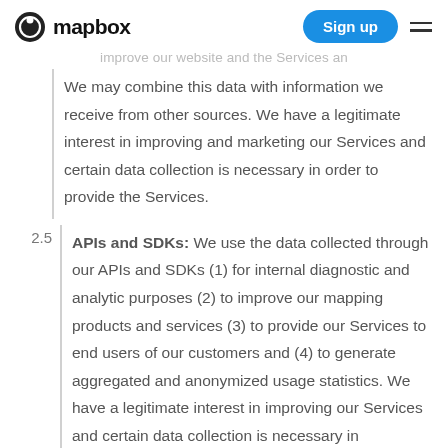mapbox | Sign up
improve our website and the Services an
We may combine this data with information we receive from other sources. We have a legitimate interest in improving and marketing our Services and certain data collection is necessary in order to provide the Services.
2.5 APIs and SDKs: We use the data collected through our APIs and SDKs (1) for internal diagnostic and analytic purposes (2) to improve our mapping products and services (3) to provide our Services to end users of our customers and (4) to generate aggregated and anonymized usage statistics. We have a legitimate interest in improving our Services and certain data collection is necessary in